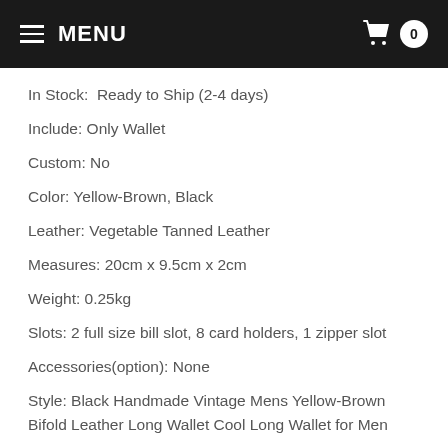MENU  0
In Stock:  Ready to Ship (2-4 days)
Include: Only Wallet
Custom: No
Color: Yellow-Brown, Black
Leather: Vegetable Tanned Leather
Measures: 20cm x 9.5cm x 2cm
Weight: 0.25kg
Slots: 2 full size bill slot, 8 card holders, 1 zipper slot
Accessories(option): None
Style: Black Handmade Vintage Mens Yellow-Brown Bifold Leather Long Wallet Cool Long Wallet for Men
Very durable (At least 5 Years) and it should last a life time